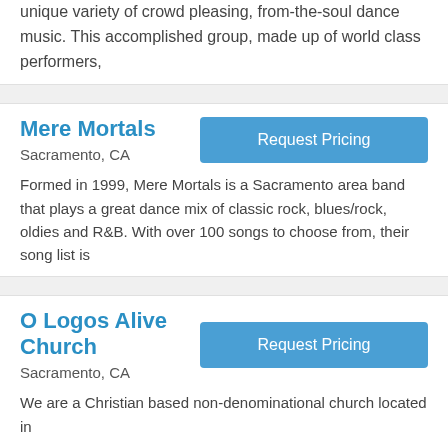unique variety of crowd pleasing, from-the-soul dance music. This accomplished group, made up of world class performers,
Mere Mortals
Sacramento, CA
Formed in 1999, Mere Mortals is a Sacramento area band that plays a great dance mix of classic rock, blues/rock, oldies and R&B. With over 100 songs to choose from, their song list is
O Logos Alive Church
Sacramento, CA
We are a Christian based non-denominational church located in